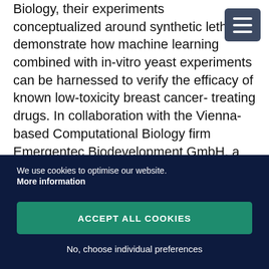Biology, their experiments conceptualized around synthetic lethality, demonstrate how machine learning combined with in-vitro yeast experiments can be harnessed to verify the efficacy of known low-toxicity breast cancer- treating drugs. In collaboration with the Vienna-based Computational Biology firm Emergentec Biodevelopment GmbH, a computational workflow embedded in the “e.valuation” technology platform suggested novel, low toxicity drug combinations which were observed to cause preferential death of tumorous cells
We use cookies to optimise our website. More information
ACCEPT ALL COOKIES
No, choose individual preferences